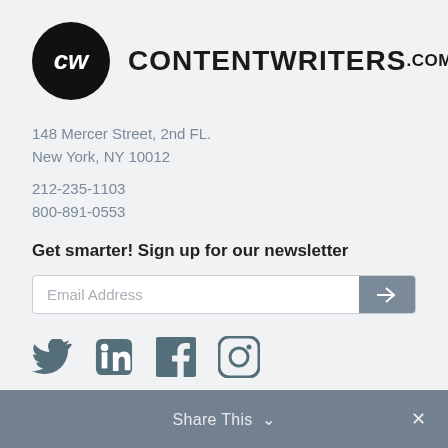[Figure (logo): ContentWriters.com logo with black circle CW icon and bold CONTENTWRITERS.COM text]
148 Mercer Street, 2nd FL.
New York, NY 10012
212-235-1103
800-891-0553
Get smarter! Sign up for our newsletter
[Figure (other): Email address input field with arrow submit button]
[Figure (other): Social media icons: Twitter, LinkedIn, Facebook, Instagram]
Share This ∨  ✕